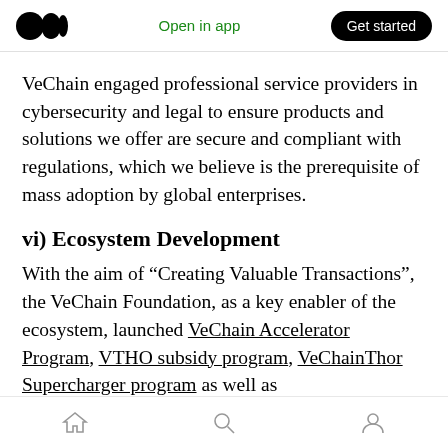Medium logo | Open in app | Get started
VeChain engaged professional service providers in cybersecurity and legal to ensure products and solutions we offer are secure and compliant with regulations, which we believe is the prerequisite of mass adoption by global enterprises.
vi) Ecosystem Development
With the aim of “Creating Valuable Transactions”, the VeChain Foundation, as a key enabler of the ecosystem, launched VeChain Accelerator Program, VTHO subsidy program, VeChainThor Supercharger program as well as
Home | Search | Profile